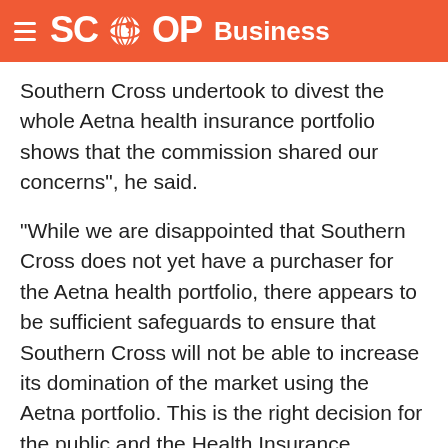SCOOP Business
Southern Cross undertook to divest the whole Aetna health insurance portfolio shows that the commission shared our concerns", he said.
"While we are disappointed that Southern Cross does not yet have a purchaser for the Aetna health portfolio, there appears to be sufficient safeguards to ensure that Southern Cross will not be able to increase its domination of the market using the Aetna portfolio. This is the right decision for the public and the Health Insurance industry because it ensures a robust, competitive market in which the public has the ability to choose between a number of providers."